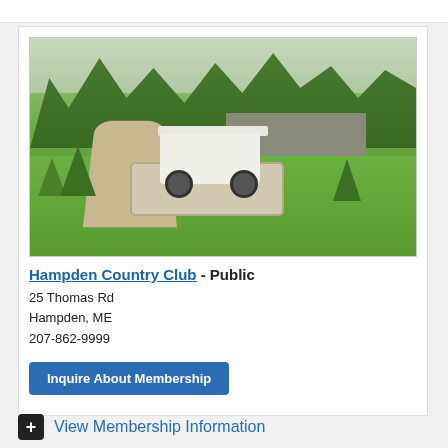[Figure (photo): Photo of Hampden Country Club showing a golf cart crossing a stone bridge over a stream, with green fairways, small evergreen trees, and a clubhouse building in the background surrounded by large trees.]
Hampden Country Club - Public
25 Thomas Rd
Hampden, ME
207-862-9999
Inquire About Membership
View Membership Information